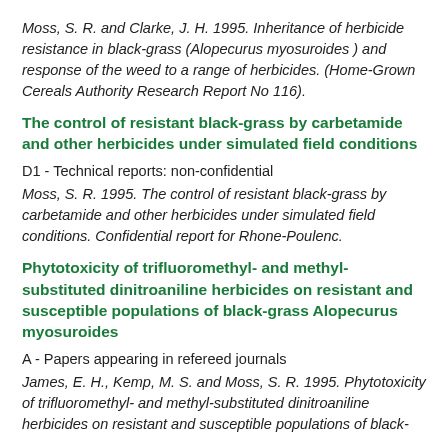Moss, S. R. and Clarke, J. H. 1995. Inheritance of herbicide resistance in black-grass (Alopecurus myosuroides ) and response of the weed to a range of herbicides. (Home-Grown Cereals Authority Research Report No 116).
The control of resistant black-grass by carbetamide and other herbicides under simulated field conditions
D1 - Technical reports: non-confidential
Moss, S. R. 1995. The control of resistant black-grass by carbetamide and other herbicides under simulated field conditions. Confidential report for Rhone-Poulenc.
Phytotoxicity of trifluoromethyl- and methyl-substituted dinitroaniline herbicides on resistant and susceptible populations of black-grass Alopecurus myosuroides
A - Papers appearing in refereed journals
James, E. H., Kemp, M. S. and Moss, S. R. 1995. Phytotoxicity of trifluoromethyl- and methyl-substituted dinitroaniline herbicides on resistant and susceptible populations of black-